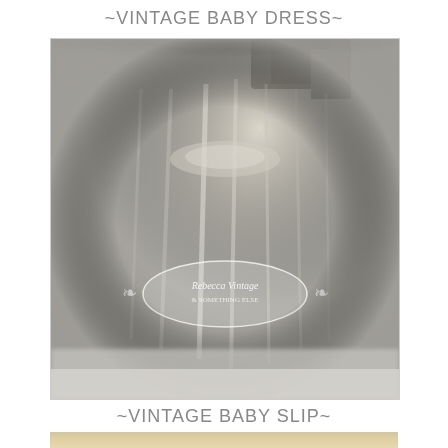~VINTAGE BABY DRESS~
[Figure (photo): Vintage baby dress photographed hanging, in muted grey-white tones with visible fabric folds and ruffles. Photo has a torn/fuzzy decorative border effect and a watermark logo reading 'Rebecca Vintage & Something Else' in an ornate oval frame.]
~VINTAGE BABY SLIP~
[Figure (photo): Partial view of a second vintage baby item, cut off at bottom of page, showing light cream/ivory textured fabric.]